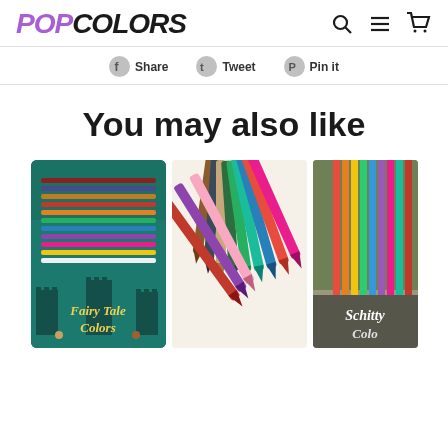POPCOLORS
Share   Tweet   Pin it
You may also like
[Figure (photo): Three product images: Fairy Tale Colors colored pencil set box, a fan of colored pencils showing tips, and partially visible third colored pencil product (Schitty Colors)]